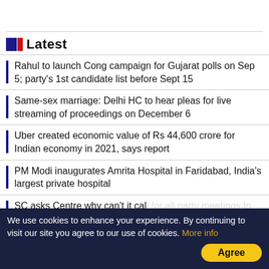Latest
Rahul to launch Cong campaign for Gujarat polls on Sep 5; party's 1st candidate list before Sept 15
Same-sex marriage: Delhi HC to hear pleas for live streaming of proceedings on December 6
Uber created economic value of Rs 44,600 crore for Indian economy in 2021, says report
PM Modi inaugurates Amrita Hospital in Faridabad, India's largest private hospital
SC asks Centre why can't it call for all party meetings to deliberate on freebies
We use cookies to enhance your experience. By continuing to visit our site you agree to our use of cookies. More info